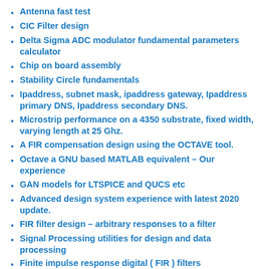Antenna fast test
CIC Filter design
Delta Sigma ADC modulator fundamental parameters calculator
Chip on board assembly
Stability Circle fundamentals
Ipaddress, subnet mask, ipaddress gateway, Ipaddress primary DNS, Ipaddress secondary DNS.
Microstrip performance on a 4350 substrate, fixed width, varying length at 25 Ghz.
A FIR compensation design using the OCTAVE tool.
Octave a GNU based MATLAB equivalent – Our experience
GAN models for LTSPICE and QUCS etc
Advanced design system experience with latest 2020 update.
FIR filter design – arbitrary responses to a filter
Signal Processing utilities for design and data processing
Finite impulse response digital ( FIR ) filters
Sampling frequency and its many manifestations for